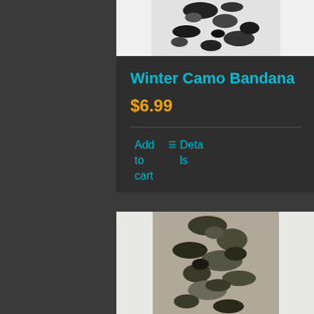[Figure (photo): Winter camo bandana product image showing black and white camouflage pattern]
Winter Camo Bandana
$6.99
Add to cart
Details
[Figure (photo): Woodland camo bandana product image showing dark green/brown camouflage pattern]
Woodland